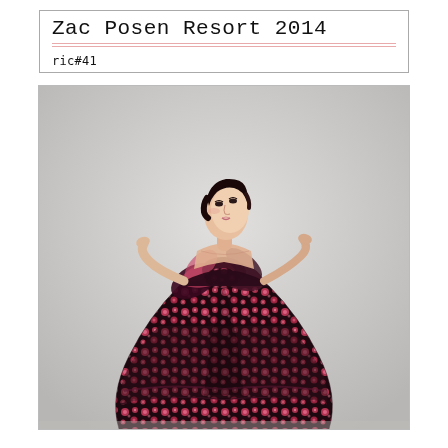Zac Posen Resort 2014
ric#41
[Figure (photo): Fashion photograph of a model wearing a dark burgundy/black strapless gown with large floral (pink flower) brocade pattern and dramatic ruffled layers at the bodice. The gown has a dramatic tiered skirt with a trailing hem. The model poses dramatically with arms behind her back, looking upward, against a light grey background. Short dark hair.]